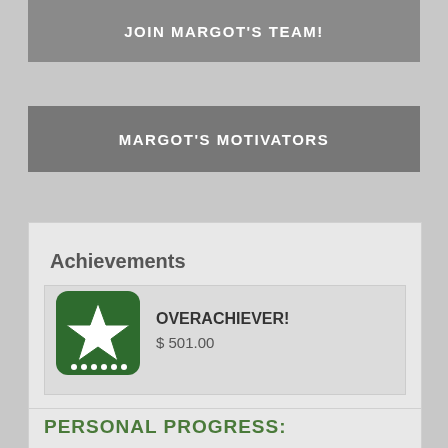JOIN MARGOT'S TEAM!
MARGOT'S MOTIVATORS
Achievements
OVERACHIEVER!
$ 501.00
PERSONAL PROGRESS:
of Goal   $6,958 Raised